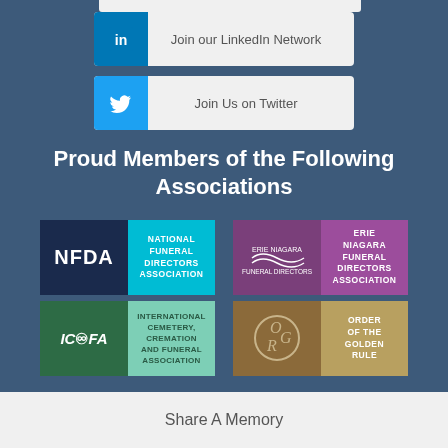[Figure (infographic): Partial social button bar visible at top (cropped)]
[Figure (infographic): LinkedIn social button: 'Join our LinkedIn Network']
[Figure (infographic): Twitter social button: 'Join Us on Twitter']
Proud Members of the Following Associations
[Figure (infographic): Grid of association logos: NFDA (National Funeral Directors Association), Erie Niagara Funeral Directors Association, ICCFA (International Cemetery, Cremation and Funeral Association), Order of the Golden Rule]
Share A Memory